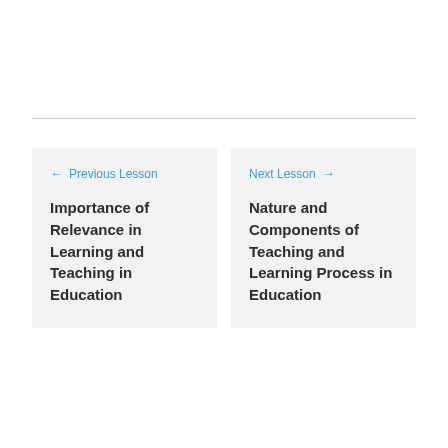← Previous Lesson
Importance of Relevance in Learning and Teaching in Education
Next Lesson →
Nature and Components of Teaching and Learning Process in Education